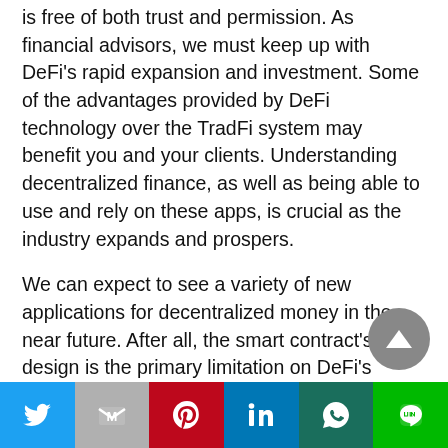is free of both trust and permission. As financial advisors, we must keep up with DeFi's rapid expansion and investment. Some of the advantages provided by DeFi technology over the TradFi system may benefit you and your clients. Understanding decentralized finance, as well as being able to use and rely on these apps, is crucial as the industry expands and prospers.
We can expect to see a variety of new applications for decentralized money in the near future. After all, the smart contract's design is the primary limitation on DeFi's potential.
[Figure (other): Social media share bar with icons for Twitter, Gmail, Pinterest, LinkedIn, WhatsApp, and LINE]